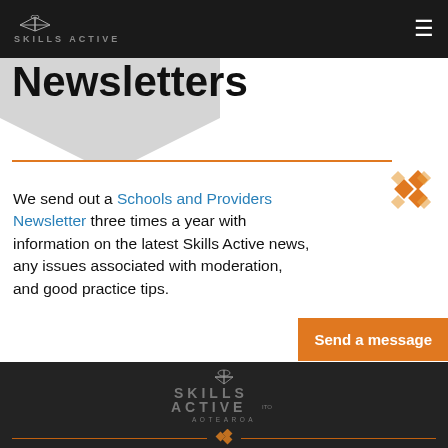SKILLS ACTIVE
Newsletters
We send out a Schools and Providers Newsletter three times a year with information on the latest Skills Active news, any issues associated with moderation, and good practice tips.
[Figure (logo): Skills Active Aotearoa ITO logo in footer]
Skills Active Aotearoa ITO